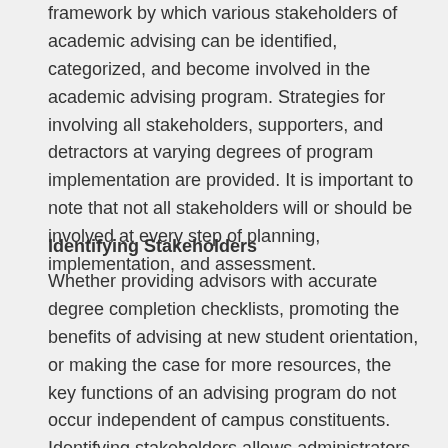framework by which various stakeholders of academic advising can be identified, categorized, and become involved in the academic advising program. Strategies for involving all stakeholders, supporters, and detractors at varying degrees of program implementation are provided. It is important to note that not all stakeholders will or should be involved at every step of planning, implementation, and assessment.
Identifying Stakeholders
Whether providing advisors with accurate degree completion checklists, promoting the benefits of advising at new student orientation, or making the case for more resources, the key functions of an advising program do not occur independent of campus constituents. Identifying stakeholders allows administrators to appreciate and understand the unique campus environment in which advising operates. With this information, the advising administrator can begin to assess opinions of stakeholders and identify potential supporters and detractors. Furthermore, an advising administrator with a complete stakeholder analysis at hand can clearly distinguish